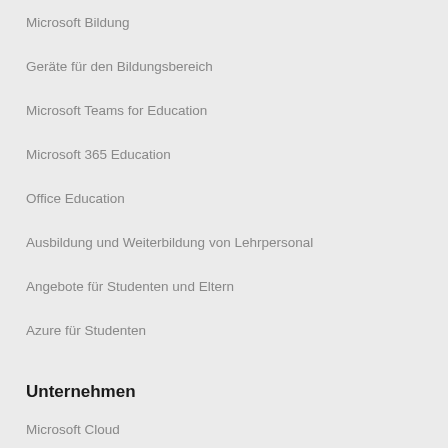Microsoft Bildung
Geräte für den Bildungsbereich
Microsoft Teams for Education
Microsoft 365 Education
Office Education
Ausbildung und Weiterbildung von Lehrpersonal
Angebote für Studenten und Eltern
Azure für Studenten
Unternehmen
Microsoft Cloud
Microsoft Security
Azure
Dynamics 365